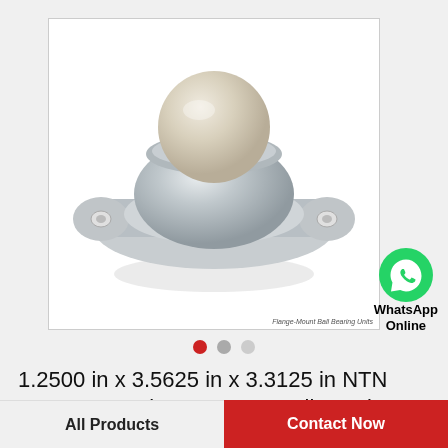[Figure (photo): Ball transfer unit (flange-mount ball bearing unit) with a cream/white ball on top of a polished silver/zinc die-cast housing with mounting flanges on two sides, each with a hole for bolts. White background photo.]
Flange-Mount Ball Bearing Units
1.2500 in x 3.5625 in x 3.3125 in NTN ASPFL 206 Flange-Mount Ball Bearing Units
All Products
Contact Now